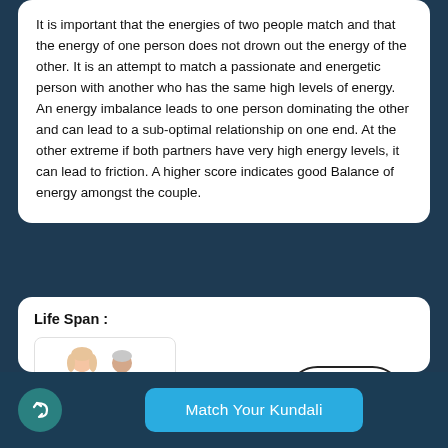It is important that the energies of two people match and that the energy of one person does not drown out the energy of the other. It is an attempt to match a passionate and energetic person with another who has the same high levels of energy. An energy imbalance leads to one person dominating the other and can lead to a sub-optimal relationship on one end. At the other extreme if both partners have very high energy levels, it can lead to friction. A higher score indicates good Balance of energy amongst the couple.
Life Span :
[Figure (illustration): Illustration of an elderly couple: a woman in a blue dress and an older man with a cane, standing together.]
10/10
Match Your Kundali